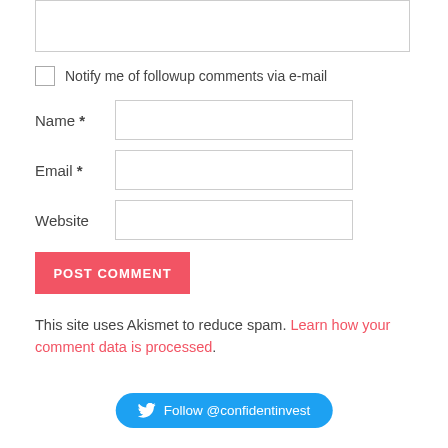[textarea for comment]
Notify me of followup comments via e-mail
Name *
Email *
Website
POST COMMENT
This site uses Akismet to reduce spam. Learn how your comment data is processed.
Follow @confidentinvest